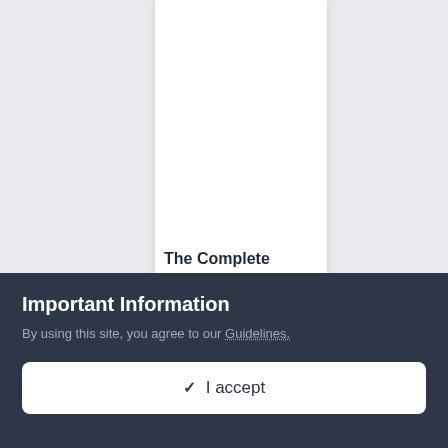The Complete Works of Michel de Montaigne: Introduction b...
by Michel Montaigne
Important Information
By using this site, you agree to our Guidelines.
✓  I accept